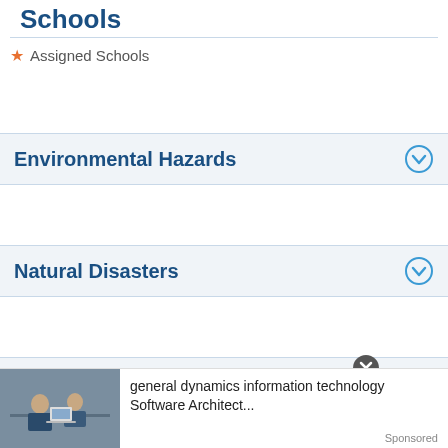Schools
* Assigned Schools
Environmental Hazards
Natural Disasters
Demographics
[Figure (screenshot): Advertisement banner showing general dynamics information technology Software Architect... with a photo of office workers]
general dynamics information technology Software Architect...
Sponsored